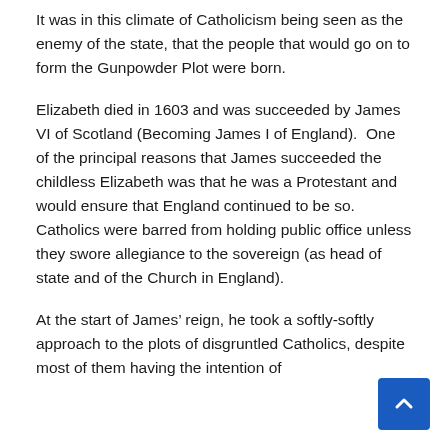It was in this climate of Catholicism being seen as the enemy of the state, that the people that would go on to form the Gunpowder Plot were born.
Elizabeth died in 1603 and was succeeded by James VI of Scotland (Becoming James I of England).  One of the principal reasons that James succeeded the childless Elizabeth was that he was a Protestant and would ensure that England continued to be so. Catholics were barred from holding public office unless they swore allegiance to the sovereign (as head of state and of the Church in England).
At the start of James’ reign, he took a softly-softly approach to the plots of disgruntled Catholics, despite most of them having the intention of